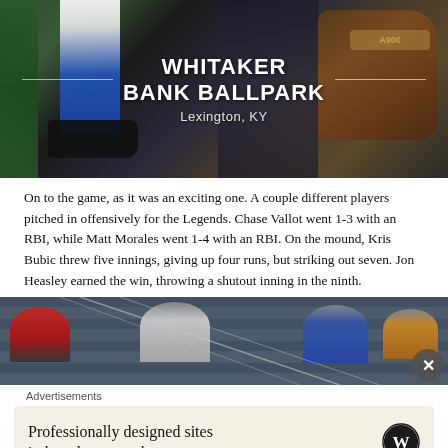[Figure (photo): Photo of a baseball player's legs and cleats near a green fence, with a person holding a brown Wilson A900 baseball glove. Text overlay reads 'WHITAKER BANK BALLPARK, Lexington, KY'.]
WHITAKER BANK BALLPARK
Lexington, KY
On to the game, as it was an exciting one. A couple different players pitched in offensively for the Legends. Chase Vallot went 1-3 with an RBI, while Matt Morales went 1-4 with an RBI. On the mound, Kris Bubic threw five innings, giving up four runs, but striking out seven. Jon Heasley earned the win, throwing a shutout inning in the ninth.
[Figure (photo): Photo of baseball stadium fans in the stands, with a batting cage net visible in the foreground. A close (X) button appears in the lower right.]
Advertisements
Professionally designed sites in less than a week